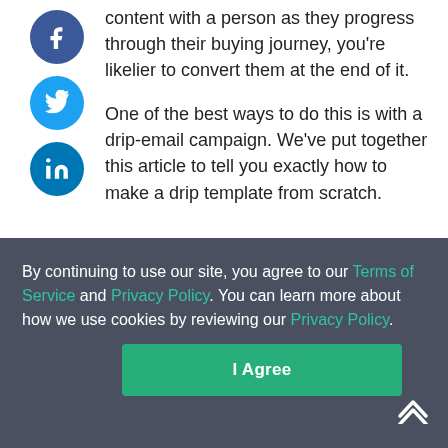content with a person as they progress through their buying journey, you're likelier to convert them at the end of it.
One of the best ways to do this is with a drip-email campaign. We've put together this article to tell you exactly how to make a drip template from scratch.
What's a drip
By continuing to use our site, you agree to our Terms of Service and Privacy Policy. You can learn more about how we use cookies by reviewing our Privacy Policy.
I Agree